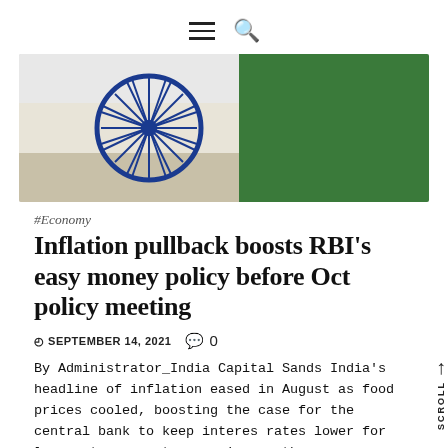≡ 🔍
[Figure (photo): Close-up photo of the Indian flag showing the Ashoka Chakra (blue wheel) and the green stripe, with a light/white stripe in the center.]
#Economy
Inflation pullback boosts RBI's easy money policy before Oct policy meeting
SEPTEMBER 14, 2021  0
By Administrator_India Capital Sands India's headline of inflation eased in August as food prices cooled, boosting the case for the central bank to keep interest rates lower for longer to support economic growth.